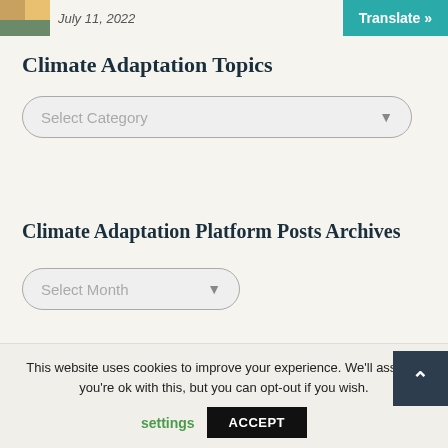[Figure (photo): Small thumbnail image of a scene, partially visible]
July 11, 2022
Translate »
Climate Adaptation Topics
Select Category
Climate Adaptation Platform Posts Archives
Select Month
This website uses cookies to improve your experience. We'll assume you're ok with this, but you can opt-out if you wish.
settings
ACCEPT